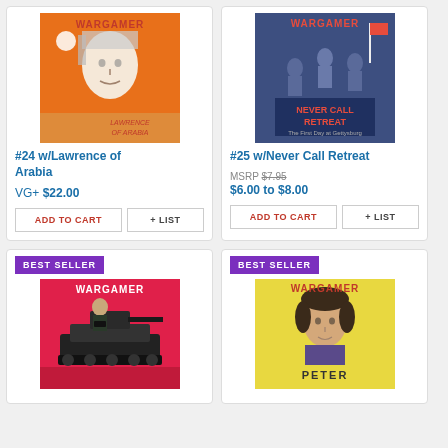[Figure (illustration): Wargamer magazine cover #24 - Lawrence of Arabia, orange background with illustrated face]
#24 w/Lawrence of Arabia
VG+ $22.00
ADD TO CART
+ LIST
[Figure (illustration): Wargamer magazine cover #25 - Never Call Retreat, blue/purple background with battle scene]
#25 w/Never Call Retreat
MSRP $7.95
$6.00 to $8.00
ADD TO CART
+ LIST
BEST SELLER
[Figure (illustration): Wargamer magazine cover - pink/red background with tank and soldier illustration]
BEST SELLER
[Figure (illustration): Wargamer magazine cover - yellow background with portrait illustration of Peter]